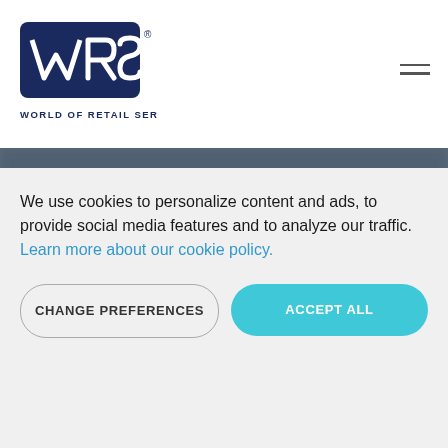[Figure (logo): WRS World of Retail Services logo in header, dark blue text on white background]
[Figure (photo): Dark grey blurred hero background image]
[Figure (logo): WRS World of Retail Services logo centered in dark navy footer band, white outline version]
GENERAL INQUIRIES (partially visible, overlaid by cookie banner)
We use cookies to personalize content and ads, to provide social media features and to analyze our traffic. Learn more about our cookie policy.
CHANGE PREFERENCES
ACCEPT ALL